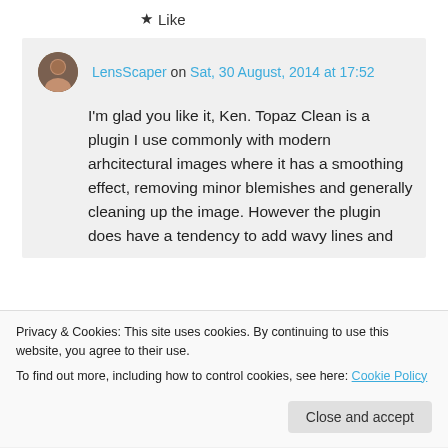★ Like
LensScaper on Sat, 30 August, 2014 at 17:52

I'm glad you like it, Ken. Topaz Clean is a plugin I use commonly with modern arhcitectural images where it has a smoothing effect, removing minor blemishes and generally cleaning up the image. However the plugin does have a tendency to add wavy lines and
Privacy & Cookies: This site uses cookies. By continuing to use this website, you agree to their use.
To find out more, including how to control cookies, see here: Cookie Policy
Close and accept
★ Like